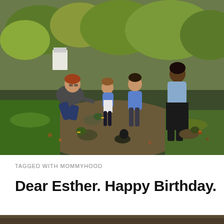[Figure (photo): A family feeding ducks outdoors in an autumn setting. A man crouches down reaching toward ducks on a dirt path, two young girls stand nearby wearing denim jackets, and a woman stands to the right watching. Trees with fall foliage are visible in the background.]
TAGGED WITH MOMMYHOOD
Dear Esther. Happy Birthday.
[Figure (photo): Partial view of a second photo at the bottom of the page, cropped.]